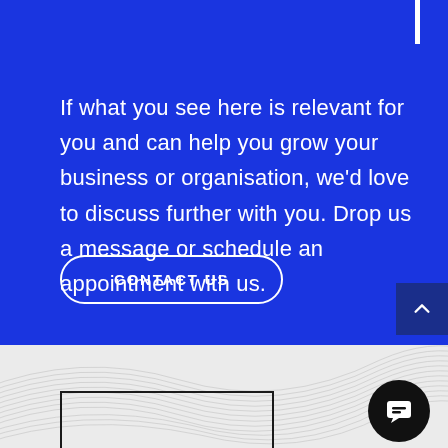If what you see here is relevant for you and can help you grow your business or organisation, we'd love to discuss further with you. Drop us a message or schedule an appointment with us.
CONTACT US
[Figure (illustration): Gray section with wavy line pattern background and partial monitor/screen outline at bottom left, plus a circular chat bubble icon at bottom right]